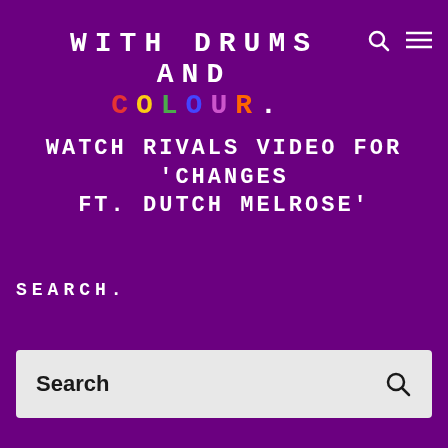WITH DRUMS AND COLOUR.
WATCH RIVALS VIDEO FOR 'CHANGES FT. DUTCH MELROSE'
SEARCH.
Search